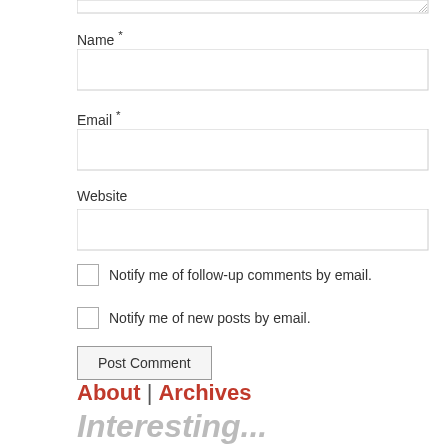[Figure (screenshot): Bottom edge of a textarea form field with resize handle in bottom-right corner]
Name *
[Figure (screenshot): Empty text input field for Name]
Email *
[Figure (screenshot): Empty text input field for Email]
Website
[Figure (screenshot): Empty text input field for Website]
Notify me of follow-up comments by email.
Notify me of new posts by email.
Post Comment
About | Archives
Interesting...
August 25